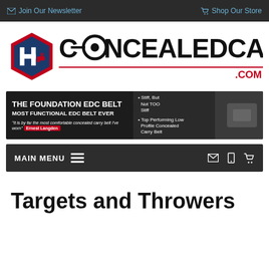Join Our Newsletter | Shop Our Store
[Figure (logo): ConcealedCarry.com logo with hexagon icon and bold text]
[Figure (infographic): THE FOUNDATION EDC BELT - MOST FUNCTIONAL EDC BELT EVER advertisement banner with bullet points: Stiff But Not TOO Stiff, Top Performing Low Profile Concealed Carry Belt, quote by Ernest Langden]
MAIN MENU
Targets and Throwers